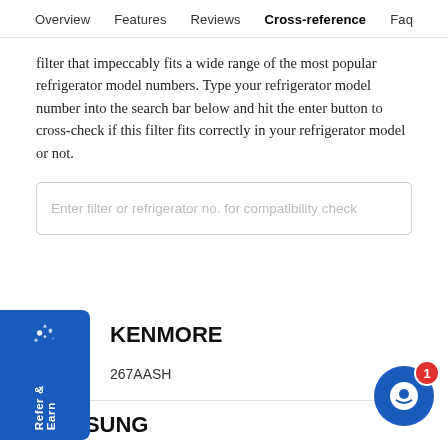Overview   Features   Reviews   Cross-reference   Faq
filter that impeccably fits a wide range of the most popular refrigerator model numbers. Type your refrigerator model number into the search bar below and hit the enter button to cross-check if this filter fits correctly in your refrigerator model or not.
Enter filter or refrigerator no. for compatibility check
[Figure (other): Blue Refer & Earn tab on left side with confetti icon]
KENMORE
267AASH
SAMSUNG